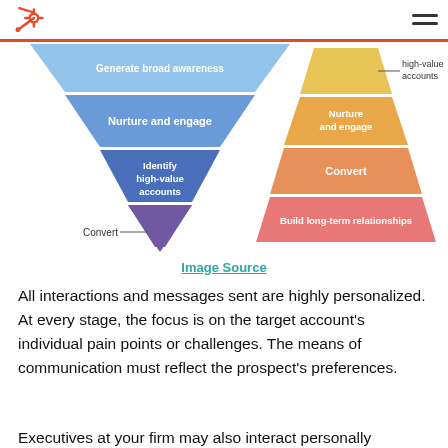HubSpot logo and navigation
[Figure (infographic): Two diagrams side by side: left is an inverted funnel (traditional funnel) with layers: Generate broad awareness, Nurture and engage, Identify high-value accounts, Convert. Right is an upright pyramid (ABM pyramid) with layers from top: high-value accounts, Nurture and engage, Convert, Build long-term relationships.]
Image Source
All interactions and messages sent are highly personalized. At every stage, the focus is on the target account's individual pain points or challenges. The means of communication must reflect the prospect's preferences.
Executives at your firm may also interact personally